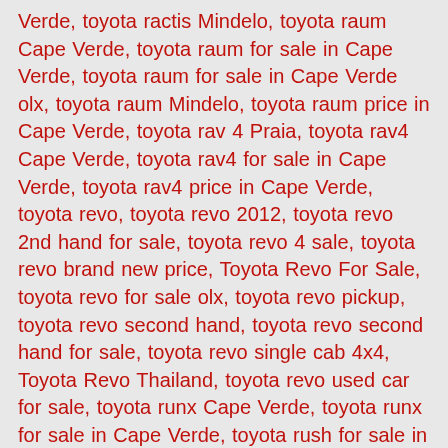Verde, toyota ractis Mindelo, toyota raum Cape Verde, toyota raum for sale in Cape Verde, toyota raum for sale in Cape Verde olx, toyota raum Mindelo, toyota raum price in Cape Verde, toyota rav 4 Praia, toyota rav4 Cape Verde, toyota rav4 for sale in Cape Verde, toyota rav4 price in Cape Verde, toyota revo, toyota revo 2012, toyota revo 2nd hand for sale, toyota revo 4 sale, toyota revo brand new price, Toyota Revo For Sale, toyota revo for sale olx, toyota revo pickup, toyota revo second hand, toyota revo second hand for sale, toyota revo single cab 4x4, Toyota Revo Thailand, toyota revo used car for sale, toyota runx Cape Verde, toyota runx for sale in Cape Verde, toyota rush for sale in Cape Verde, toyota rush Mindelo, toyota rush olx Cape Verde, toyota saloon cars for sale in Cape Verde, toyota second hand cars Cape Verde, toyota shark Cape Verde, toyota sienta Cape Verde, toyota sienta Mindelo, toyota single cab for sale, toyota smart cab 2010, toyota spacio Cape Verde, toyota spacio Mindelo, toyota starlet Praia, toyota station wagon for sale in Cape Verde, toyota succeed